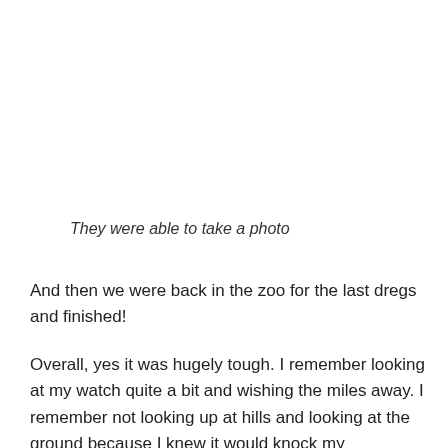They were able to take a photo
And then we were back in the zoo for the last dregs and finished!
Overall, yes it was hugely tough. I remember looking at my watch quite a bit and wishing the miles away. I remember not looking up at hills and looking at the ground because I knew it would knock my confidence if I saw for how long the incline went.